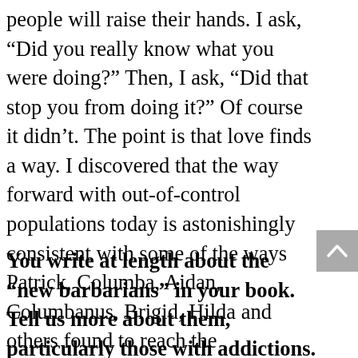people will raise their hands. I ask, “Did you really know what you were doing?” Then, I ask, “Did that stop you from doing it?” Of course it didn’t. The point is that love finds a way. I discovered that the way forward with out-of-control populations today is astonishingly consistent with some of the ways Patrick, Columba, Aidan, Columbanus, Brigid, Hilda and others found to reach the “barbarians” of their time.
You write at length about the “new barbarians” in your book. Tell us more about them, particularly those with addictions.